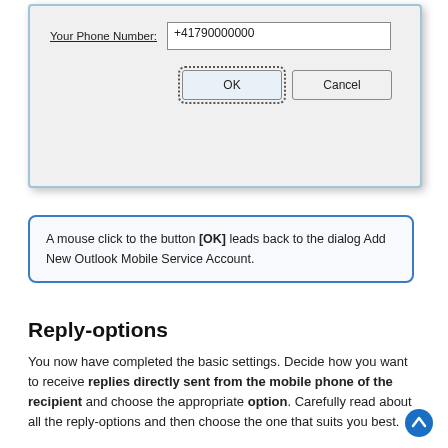[Figure (screenshot): A dialog box showing a phone number input field with '+41790000000', and OK and Cancel buttons.]
A mouse click to the button [OK] leads back to the dialog Add New Outlook Mobile Service Account.
Reply-options
You now have completed the basic settings. Decide how you want to receive replies directly sent from the mobile phone of the recipient and choose the appropriate option. Carefully read about all the reply-options and then choose the one that suits you best.